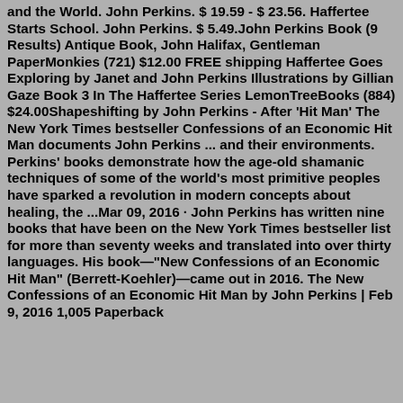and the World. John Perkins. $ 19.59 - $ 23.56. Haffertee Starts School. John Perkins. $ 5.49.John Perkins Book (9 Results) Antique Book, John Halifax, Gentleman PaperMonkies (721) $12.00 FREE shipping Haffertee Goes Exploring by Janet and John Perkins Illustrations by Gillian Gaze Book 3 In The Haffertee Series LemonTreeBooks (884) $24.00Shapeshifting by John Perkins - After 'Hit Man' The New York Times bestseller Confessions of an Economic Hit Man documents John Perkins ... and their environments. Perkins' books demonstrate how the age-old shamanic techniques of some of the world's most primitive peoples have sparked a revolution in modern concepts about healing, the ...Mar 09, 2016 · John Perkins has written nine books that have been on the New York Times bestseller list for more than seventy weeks and translated into over thirty languages. His book—"New Confessions of an Economic Hit Man" (Berrett-Koehler)—came out in 2016. The New Confessions of an Economic Hit Man by John Perkins | Feb 9, 2016 1,005 Paperback